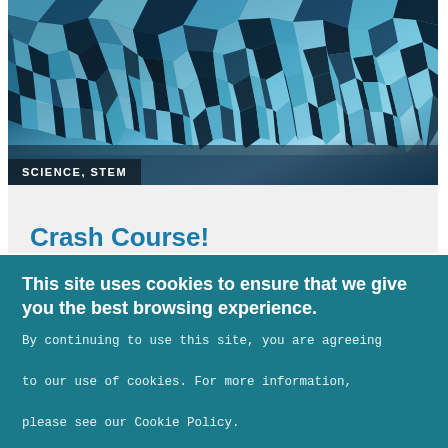[Figure (photo): Close-up photo of shattered glass with cracked fragments in blue and dark tones, creating a mosaic-like pattern.]
SCIENCE, STEM
Grades 9-12
Crash Course!
This site uses cookies to ensure that we give you the best browsing experience.
By continuing to use this site, you are agreeing to our use of cookies. For more information, please see our Cookie Policy.
OK